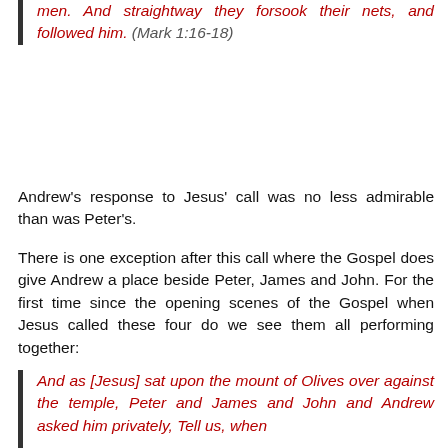men. And straightway they forsook their nets, and followed him. (Mark 1:16-18)
Andrew's response to Jesus' call was no less admirable than was Peter's.
There is one exception after this call where the Gospel does give Andrew a place beside Peter, James and John. For the first time since the opening scenes of the Gospel when Jesus called these four do we see them all performing together:
And as [Jesus] sat upon the mount of Olives over against the temple, Peter and James and John and Andrew asked him privately, Tell us, when